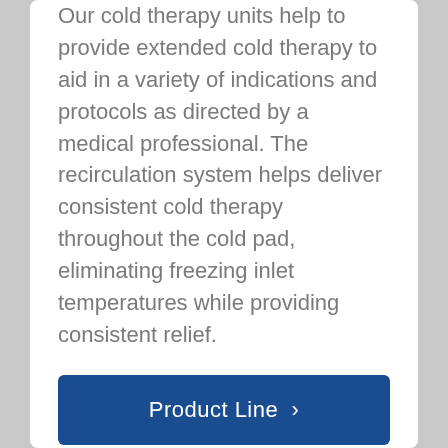Our cold therapy units help to provide extended cold therapy to aid in a variety of indications and protocols as directed by a medical professional. The recirculation system helps deliver consistent cold therapy throughout the cold pad, eliminating freezing inlet temperatures while providing consistent relief.
Product Line >
Locate A Rep >